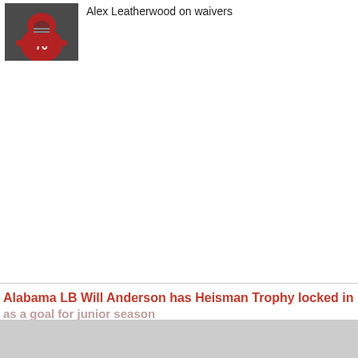[Figure (photo): Football player wearing jersey number 70 in red uniform]
Alex Leatherwood on waivers
Alabama LB Will Anderson has Heisman Trophy locked in as a goal for junior season
Jalen Hurts files for a patent for "Hurts so good" phrase